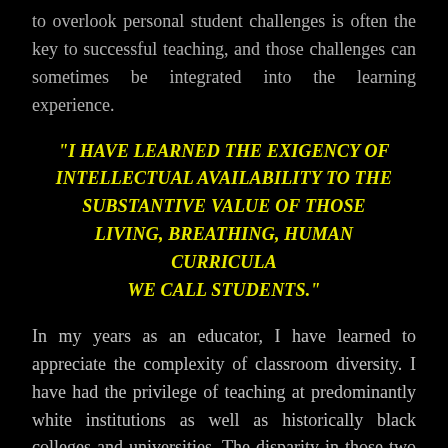to overlook personal student challenges is often the key to successful teaching, and those challenges can sometimes be integrated into the learning experience.
"I HAVE LEARNED THE EXIGENCY OF INTELLECTUAL AVAILABILITY TO THE SUBSTANTIVE VALUE OF THOSE LIVING, BREATHING, HUMAN CURRICULA WE CALL STUDENTS."
In my years as an educator, I have learned to appreciate the complexity of classroom diversity. I have had the privilege of teaching at predominantly white institutions as well as historically black colleges and universities. The disparity in those two experiences has taught me the importance of a full